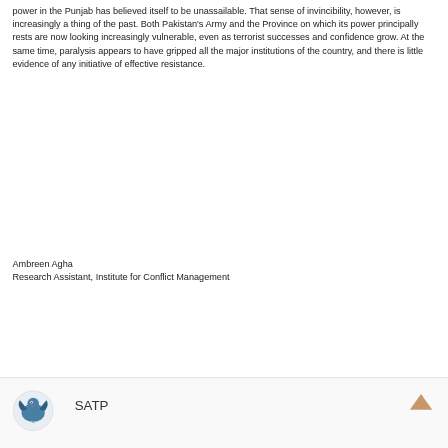power in the Punjab has believed itself to be unassailable. That sense of invincibility, however, is increasingly a thing of the past. Both Pakistan's Army and the Province on which its power principally rests are now looking increasingly vulnerable, even as terrorist successes and confidence grow. At the same time, paralysis appears to have gripped all the major institutions of the country, and there is little evidence of any initiative of effective resistance.
Ambreen Agha
Research Assistant, Institute for Conflict Management
[Figure (logo): SATP logo - circular emblem with blue eagle/bird design, next to SATP text]